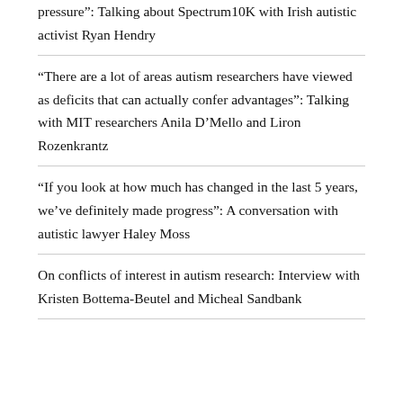pressure”: Talking about Spectrum10K with Irish autistic activist Ryan Hendry
“There are a lot of areas autism researchers have viewed as deficits that can actually confer advantages”: Talking with MIT researchers Anila D’Mello and Liron Rozenkrantz
“If you look at how much has changed in the last 5 years, we’ve definitely made progress”: A conversation with autistic lawyer Haley Moss
On conflicts of interest in autism research: Interview with Kristen Bottema-Beutel and Micheal Sandbank